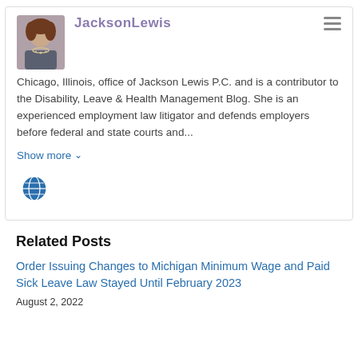[Figure (photo): Portrait photo of a woman with a necklace, partially cropped]
JacksonLewis
Chicago, Illinois, office of Jackson Lewis P.C. and is a contributor to the Disability, Leave & Health Management Blog. She is an experienced employment law litigator and defends employers before federal and state courts and...
Show more ∨
[Figure (illustration): Globe/world icon]
Related Posts
Order Issuing Changes to Michigan Minimum Wage and Paid Sick Leave Law Stayed Until February 2023
August 2, 2022